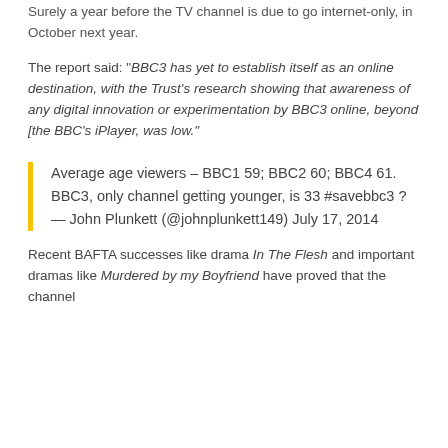Surely a year before the TV channel is due to go internet-only, in October next year.
The report said: “BBC3 has yet to establish itself as an online destination, with the Trust’s research showing that awareness of any digital innovation or experimentation by BBC3 online, beyond [the BBC’s iPlayer, was low.”
Average age viewers – BBC1 59; BBC2 60; BBC4 61. BBC3, only channel getting younger, is 33 #savebbc3 ?
— John Plunkett (@johnplunkett149) July 17, 2014
Recent BAFTA successes like drama In The Flesh and important dramas like Murdered by my Boyfriend have proved that the channel